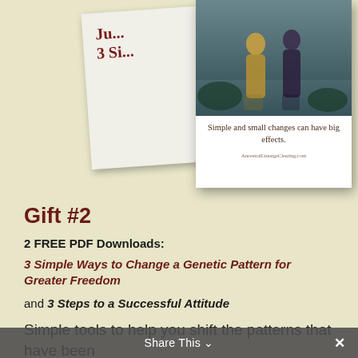[Figure (illustration): Two overlapping book/PDF covers. The back cover shows 'J...' and '3 Si...' text in dark red. The front cover shows a photograph of two figures in a misty water scene, with the quote 'Simple and small changes can have big effects.' and the URL 'AncestralLineageClearing.com']
Gift #2
2 FREE PDF Downloads:
3 Simple Ways to Change a Genetic Pattern for Greater Freedom
and 3 Steps to a Successful Attitude
Simple tools to help you shift the patterns that have been